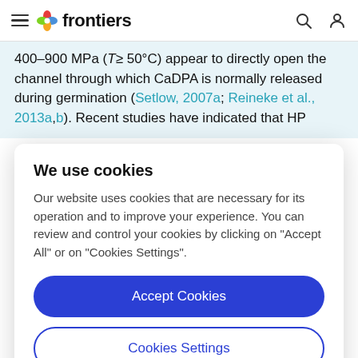frontiers
400–900 MPa (T≥ 50°C) appear to directly open the channel through which CaDPA is normally released during germination (Setlow, 2007a; Reineke et al., 2013a,b). Recent studies have indicated that HP
We use cookies
Our website uses cookies that are necessary for its operation and to improve your experience. You can review and control your cookies by clicking on "Accept All" or on "Cookies Settings".
Accept Cookies
Cookies Settings